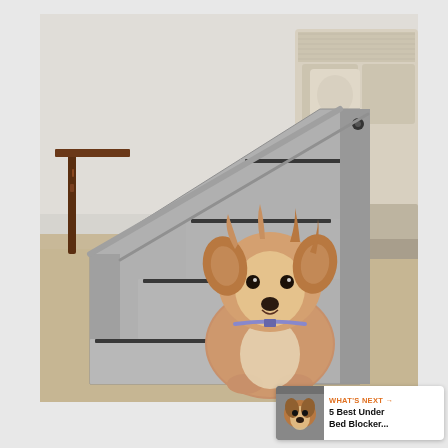[Figure (photo): A small Yorkshire Terrier dog sitting on a carpet in front of a grey plastic pet staircase with four non-slip steps. A beige sofa and a dark wood side table are visible in the background. The photo appears to be a product shot for pet stairs.]
[Figure (infographic): A blue circular heart/like button (heart icon), a count badge showing '1', and a circular share button with a share icon — UI overlay elements on the right side of the image.]
[Figure (screenshot): A 'What's Next' card overlay at the bottom right showing a thumbnail of a dog and the text 'WHAT'S NEXT → 5 Best Under Bed Blocker...']